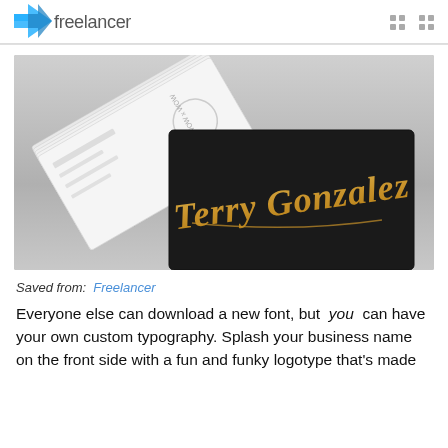freelancer
[Figure (photo): Business cards mockup: a stack of white business cards and one dark (black) card in front with gold script text reading 'Terry Gonzalez']
Saved from:  Freelancer
Everyone else can download a new font, but you can have your own custom typography. Splash your business name on the front side with a fun and funky logotype that's made